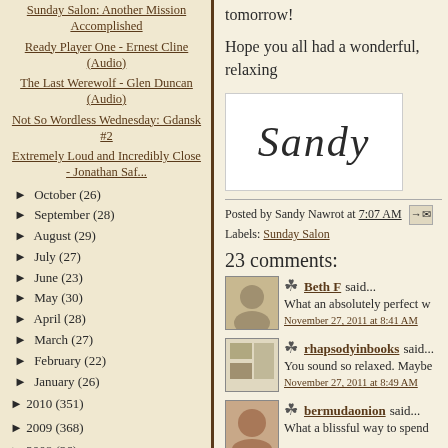Sunday Salon: Another Mission Accomplished
Ready Player One - Ernest Cline (Audio)
The Last Werewolf - Glen Duncan (Audio)
Not So Wordless Wednesday: Gdansk #2
Extremely Loud and Incredibly Close - Jonathan Saf...
► October (26)
► September (28)
► August (29)
► July (27)
► June (23)
► May (30)
► April (28)
► March (27)
► February (22)
► January (26)
► 2010 (351)
► 2009 (368)
► 2008 (36)
About Me
tomorrow!
Hope you all had a wonderful, relaxing
[Figure (illustration): Handwritten cursive signature reading 'Sandy' on white background]
Posted by Sandy Nawrot at 7:07 AM   Labels: Sunday Salon
23 comments:
Beth F said...
What an absolutely perfect w
November 27, 2011 at 8:41 AM
rhapsodyinbooks said...
You sound so relaxed. Maybe
November 27, 2011 at 8:49 AM
bermudaonion said...
What a blissful way to spend
November 27, 2011 at ...